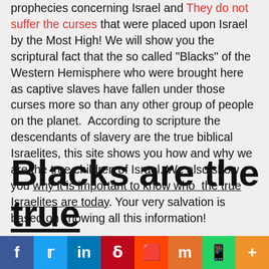prophecies concerning Israel and They do not suffer the curses that were placed upon Israel by the Most High! We will show you the scriptural fact that the so called "Blacks" of the Western Hemisphere who were brought here as captive slaves have fallen under those curses more so than any other group of people on the planet. According to scripture the descendants of slavery are the true biblical Israelites, this site shows you how and why we are the true children of Israel. We also show you why it is important to know who the true Israelites are today. Your very salvation is based on knowing all this information!
Blacks are the true
[Figure (other): Social media share bar with icons for Facebook, Twitter, LinkedIn, Pinterest, Reddit, Mix, WhatsApp, and More]